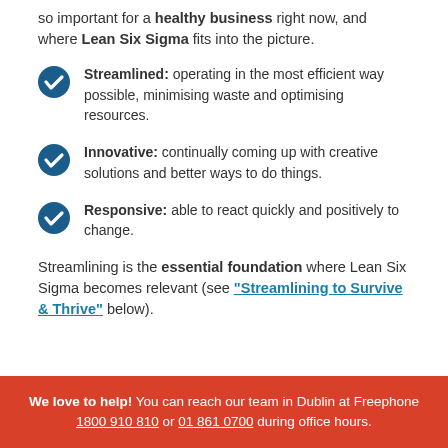so important for a healthy business right now, and where Lean Six Sigma fits into the picture.
Streamlined: operating in the most efficient way possible, minimising waste and optimising resources.
Innovative: continually coming up with creative solutions and better ways to do things.
Responsive: able to react quickly and positively to change.
Streamlining is the essential foundation where Lean Six Sigma becomes relevant (see "Streamlining to Survive & Thrive" below).
We love to help! You can reach our team in Dublin at Freephone 1800 910 810 or 01 861 0700 during office hours.